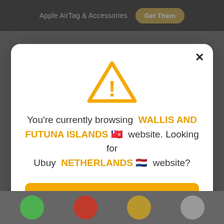Apple AirTag & Accessories  Get Them
[Figure (screenshot): Orange warning triangle with exclamation mark icon]
You're currently browsing WALLIS AND FUTUNA ISLANDS 🇼🇫 website. Looking for Ubuy NETHERLANDS 🇳🇱 website?
Visit Ubuy Netherlands
Close